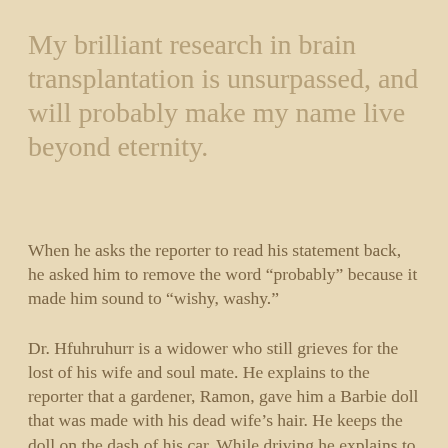My brilliant research in brain transplantation is unsurpassed, and will probably make my name live beyond eternity.
When he asks the reporter to read his statement back, he asked him to remove the word “probably” because it made him sound to “wishy, washy.”
Dr. Hfuhruhurr is a widower who still grieves for the lost of his wife and soul mate. He explains to the reporter that a gardener, Ramon, gave him a Barbie doll that was made with his dead wife’s hair. He keeps the doll on the dash of his car. While driving he explains to the reporter. Suddenly, he accidentally